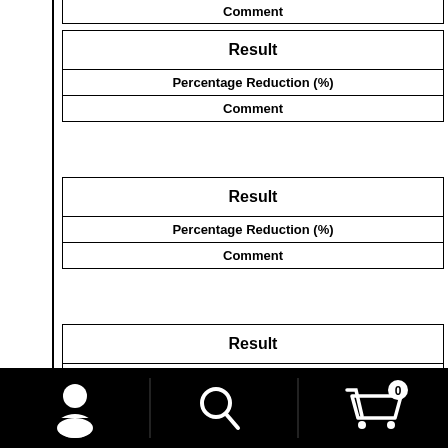| Comment |
| --- |
| Result | Percentage Reduction (%) | Comment |
| --- | --- | --- |
| Result | Percentage Reduction (%) | Comment |
| --- | --- | --- |
| Result | Percentage Reduction (%) | Comment |
| --- | --- | --- |
[Figure (screenshot): Mobile app bottom navigation bar with user icon, search icon, and shopping cart icon with badge showing 0]